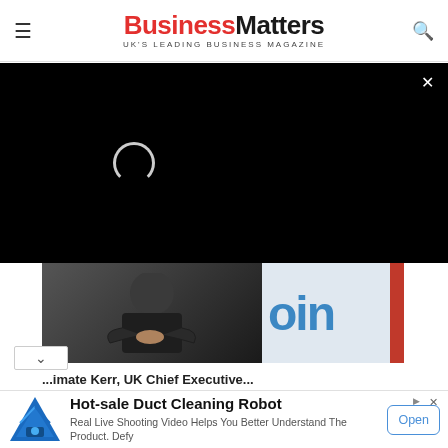BusinessMatters UK'S LEADING BUSINESS MAGAZINE
[Figure (screenshot): Black video player overlay with loading spinner and close (x) button in top right]
[Figure (photo): Person in black clothing with arms crossed standing in front of a sign, partial view]
...imate Kerr, UK Chief Executive...
Hot-sale Duct Cleaning Robot
Real Live Shooting Video Helps You Better Understand The Product. Defy